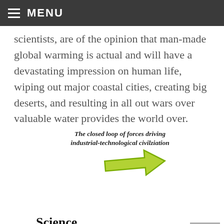MENU
scientists, are of the opinion that man-made global warming is actual and will have a devastating impression on human life, wiping out major coastal cities, creating big deserts, and resulting in all out wars over valuable water provides the world over.
[Figure (flowchart): The closed loop of forces driving industrial-technological civilziation. Diagram shows circular arrows connecting Science and Technology labels, with a green arrow at top pointing right, a blue arrow at bottom-left pointing up-left, and a blue-purple arrow at bottom-right pointing down.]
The closed loop of forces driving industrial-technological civilziation